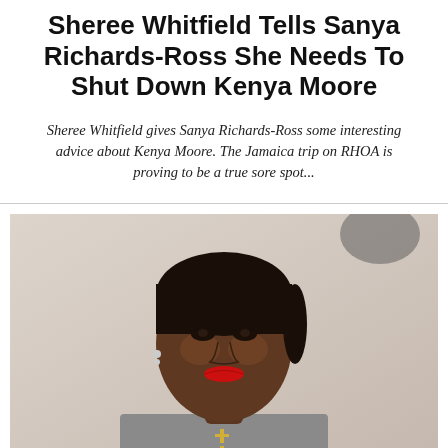Sheree Whitfield Tells Sanya Richards-Ross She Needs To Shut Down Kenya Moore
Sheree Whitfield gives Sanya Richards-Ross some interesting advice about Kenya Moore. The Jamaica trip on RHOA is proving to be a true sore spot...
[Figure (photo): A woman with dark hair pulled back, wearing a grey blazer and a cross necklace with red lipstick, seated against a light beige background. She is looking slightly to the side with a composed expression.]